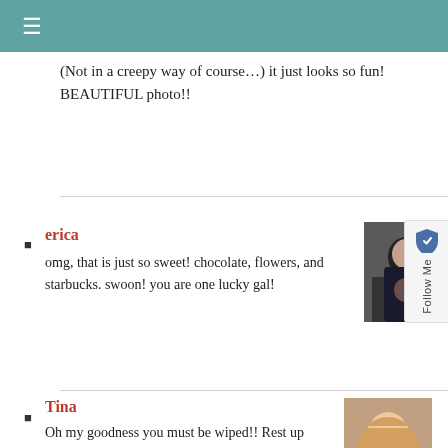≡
(Not in a creepy way of course…) it just looks so fun! BEAUTIFUL photo!!
erica
omg, that is just so sweet! chocolate, flowers, and starbucks. swoon! you are one lucky gal!
[Figure (photo): Avatar photo of commenter erica - woman holding coffee]
Tina
Oh my goodness you must be wiped!! Rest up today. With some of that chocolate. Sitting next to those flowers. What a good, good man. 😀
[Figure (photo): Avatar photo of commenter Tina - blonde woman smiling]